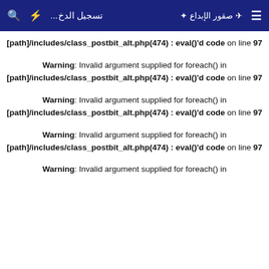تسجيل الدخ... [search icon] [lightning icon] [logo: صقور الإبداع] [menu icon]
[path]/includes/class_postbit_alt.php(474) : eval()'d code on line 97
Warning: Invalid argument supplied for foreach() in [path]/includes/class_postbit_alt.php(474) : eval()'d code on line 97
Warning: Invalid argument supplied for foreach() in [path]/includes/class_postbit_alt.php(474) : eval()'d code on line 97
Warning: Invalid argument supplied for foreach() in [path]/includes/class_postbit_alt.php(474) : eval()'d code on line 97
Warning: Invalid argument supplied for foreach() in